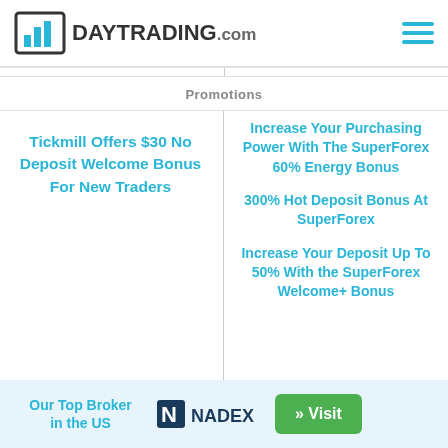DAYTRADING.com
Promotions
Tickmill Offers $30 No Deposit Welcome Bonus For New Traders
Increase Your Purchasing Power With The SuperForex 60% Energy Bonus
300% Hot Deposit Bonus At SuperForex
Increase Your Deposit Up To 50% With the SuperForex Welcome+ Bonus
Our Top Broker in the US  NADEX  » Visit